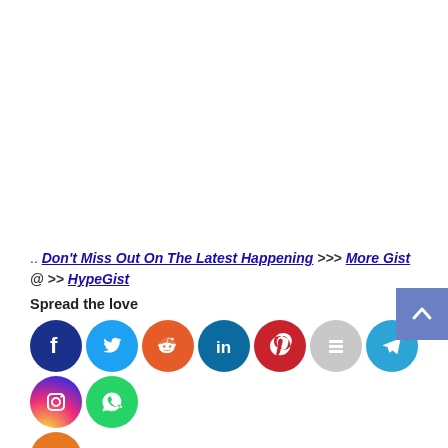.. Don't Miss Out On The Latest Happening >>> More Gist @ >> HypeGist
Spread the love
[Figure (infographic): Row of social media share icons: Facebook, Twitter, Reddit, LinkedIn, Pinterest, Buffer, Telegram, Instagram, WhatsApp, and a generic share button (orange)]
Tags: Monkeypox, South Africa